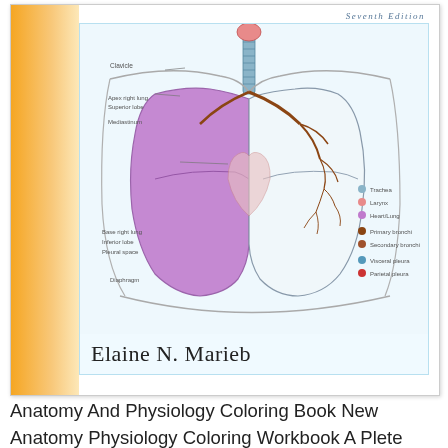[Figure (illustration): Book cover of Anatomy And Physiology Coloring Book, Seventh Edition by Elaine N. Marieb. Cover features an anatomical diagram of the human respiratory system (lungs, trachea, bronchi) with the right lung filled in purple/pink, labeled structures including Clavicle, Apex right lung, Superior lobe, Mediastinum, Base right lung, Inferior lobe, Pleural space, Diaphragm, Trachea, Larynx, Heart/Lung, Primary bronchi, Secondary bronchi, Visceral pleura, Parietal pleura. Orange gradient stripe on left side.]
Anatomy And Physiology Coloring Book New Anatomy Physiology Coloring Workbook A Plete Study Guide Edi Anatomy And